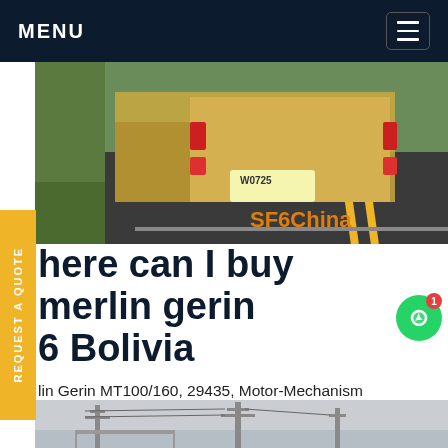MENU
[Figure (photo): Rear view of a truck/vehicle on a road with license plate W0725, with green grass area and infrastructure visible. SF6China watermark in orange bottom-right.]
here can I buy merlin gerin 6 Bolivia
lin Gerin MT100/160, 29435, Motor-Mechanism npact MT, 380-415 VAC. New (Other) C $767.01. o Rated Seller. Top Rated Seller. Buy It Now. +C Get e
[Figure (photo): Electrical power transmission towers/pylons and infrastructure, gray sky background.]